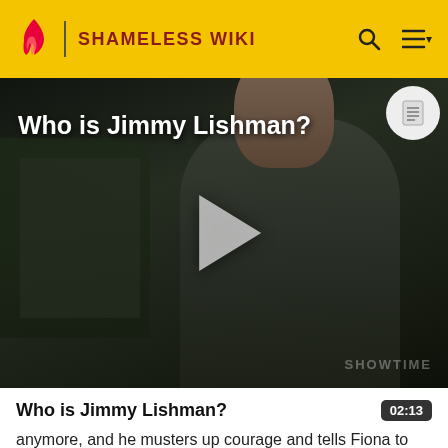SHAMELESS WIKI
[Figure (screenshot): Video thumbnail showing a man with dark hair in a plaid shirt, outdoors. Title overlay reads 'Who is Jimmy Lishman?' with a play button in the center. Showtime watermark at bottom right.]
Who is Jimmy Lishman?
anymore, and he musters up courage and tells Fiona to have a good life. She says the same, "whatever your name is." Jimmy drives off on his motorcycle and Fiona starts walking off. Angela shows up in her car. Fiona tells